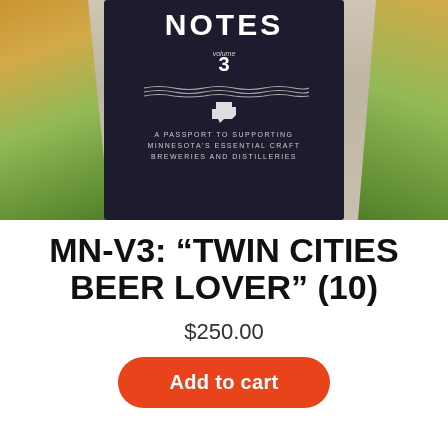[Figure (photo): Product image of a dark notebook/passport book cover titled 'Notes Volume 3' with Minnesota state shape, wave lines, and text 'A Passport to Supporting Minnesota's Essential Craft Breweries and Distilleries'. Background shows wheat stalks and green leaves on a wooden surface.]
MN-V3: “TWIN CITIES BEER LOVER” (10)
$250.00
Add to cart